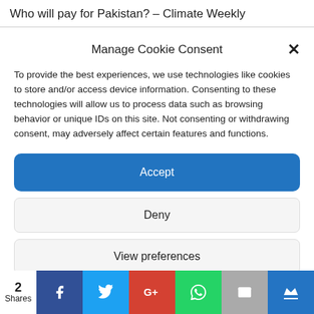Who will pay for Pakistan? – Climate Weekly
Manage Cookie Consent
To provide the best experiences, we use technologies like cookies to store and/or access device information. Consenting to these technologies will allow us to process data such as browsing behavior or unique IDs on this site. Not consenting or withdrawing consent, may adversely affect certain features and functions.
Accept
Deny
View preferences
Cookie Policy   Privacy policy
2
Shares